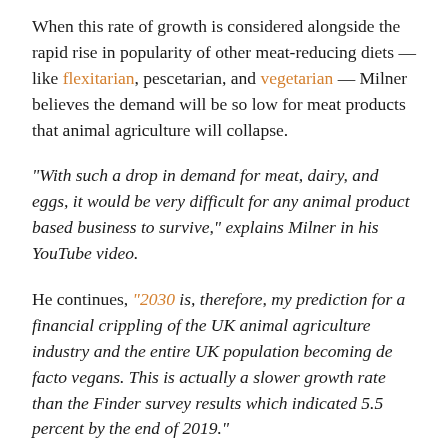When this rate of growth is considered alongside the rapid rise in popularity of other meat-reducing diets — like flexitarian, pescetarian, and vegetarian — Milner believes the demand will be so low for meat products that animal agriculture will collapse.
“With such a drop in demand for meat, dairy, and eggs, it would be very difficult for any animal product based business to survive,” explains Milner in his YouTube video.
He continues, “2030 is, therefore, my prediction for a financial crippling of the UK animal agriculture industry and the entire UK population becoming de facto vegans. This is actually a slower growth rate than the Finder survey results which indicated 5.5 percent by the end of 2019.”